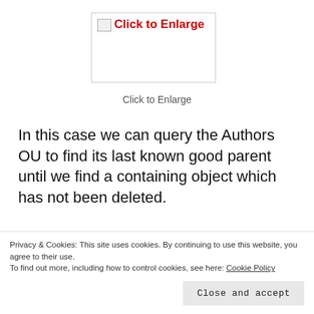[Figure (screenshot): A placeholder image box with a broken image icon and red text 'Click to Enlarge']
Click to Enlarge
In this case we can query the Authors OU to find its last known good parent until we find a containing object which has not been deleted.
Once we know which is the first object to be restored we can begin the restoration process
Privacy & Cookies: This site uses cookies. By continuing to use this website, you agree to their use.
To find out more, including how to control cookies, see here: Cookie Policy
Close and accept